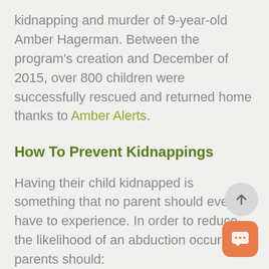kidnapping and murder of 9-year-old Amber Hagerman. Between the program's creation and December of 2015, over 800 children were successfully rescued and returned home thanks to Amber Alerts.
How To Prevent Kidnappings
Having their child kidnapped is something that no parent should ever have to experience. In order to reduce the likelihood of an abduction occurring, parents should:
Continually teach kids about how to